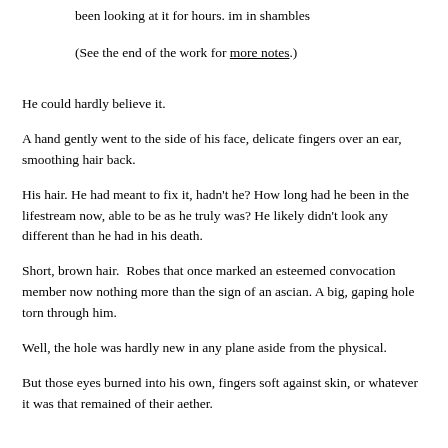from paper pie or which. Please tell an. I've been looking at it for hours. im in shambles
(See the end of the work for more notes.)
He could hardly believe it.
A hand gently went to the side of his face, delicate fingers over an ear, smoothing hair back.
His hair. He had meant to fix it, hadn't he? How long had he been in the lifestream now, able to be as he truly was? He likely didn't look any different than he had in his death.
Short, brown hair.  Robes that once marked an esteemed convocation member now nothing more than the sign of an ascian. A big, gaping hole torn through him.
Well, the hole was hardly new in any plane aside from the physical.
But those eyes burned into his own, fingers soft against skin, or whatever it was that remained of their aether.